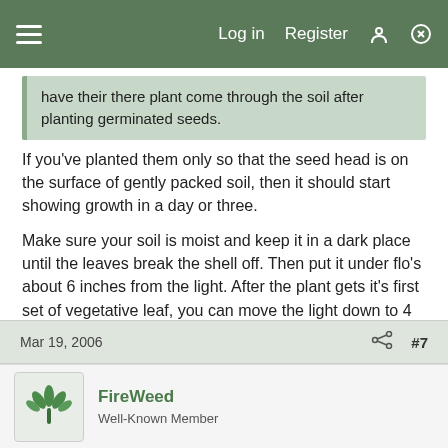Log in  Register  #7
have their there plant come through the soil after planting germinated seeds.
If you've planted them only so that the seed head is on the surface of gently packed soil, then it should start showing growth in a day or three.
Make sure your soil is moist and keep it in a dark place until the leaves break the shell off. Then put it under flo's about 6 inches from the light. After the plant gets it's first set of vegetative leaf, you can move the light down to 4 inches from the plant.
Good luck man.
Mar 19, 2006  #7
FireWeed
Well-Known Member